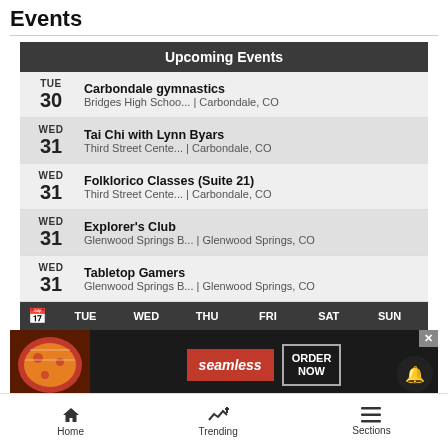Events
| Upcoming Events |
| --- |
| TUE 30 | Carbondale gymnastics | Bridges High Schoo... | Carbondale, CO |
| WED 31 | Tai Chi with Lynn Byars | Third Street Cente... | Carbondale, CO |
| WED 31 | Folklorico Classes (Suite 21) | Third Street Cente... | Carbondale, CO |
| WED 31 | Explorer's Club | Glenwood Springs B... | Glenwood Springs, CO |
| WED 31 | Tabletop Gamers | Glenwood Springs B... | Glenwood Springs, CO |
[Figure (screenshot): Calendar navigation bar with day columns: TUE, WED, THU, FRI, SAT, SUN]
[Figure (screenshot): Seamless food delivery advertisement banner with pizza image, seamless logo, and ORDER NOW button]
Home | Trending | Sections